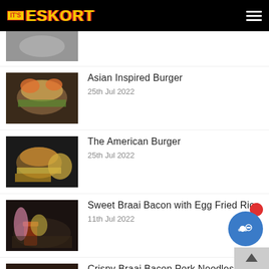IT'S ESKORT
[Figure (photo): Partial food photo at top of page]
Asian Inspired Burger
25th Jul 2022
[Figure (photo): Asian Inspired Burger food photo]
The American Burger
25th Jul 2022
[Figure (photo): The American Burger food photo]
Sweet Braai Bacon with Egg Fried Rice
11th Jul 2022
[Figure (photo): Sweet Braai Bacon with Egg Fried Rice food photo]
Crispy Braai Bacon Pork Noodles
[Figure (photo): Crispy Braai Bacon Pork Noodles food photo]